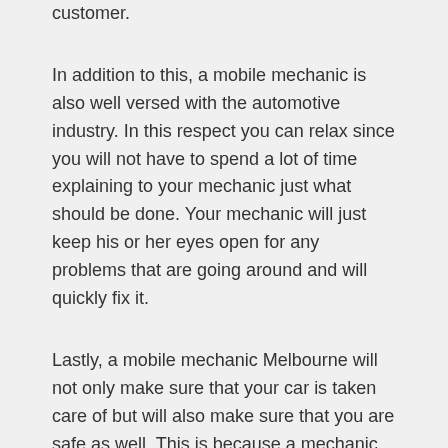customer.
In addition to this, a mobile mechanic is also well versed with the automotive industry. In this respect you can relax since you will not have to spend a lot of time explaining to your mechanic just what should be done. Your mechanic will just keep his or her eyes open for any problems that are going around and will quickly fix it.
Lastly, a mobile mechanic Melbourne will not only make sure that your car is taken care of but will also make sure that you are safe as well. This is because a mechanic in Melbourne can get to know what parts of your car are in need of repair or replacement. For this reason you are guaranteed to be safe with your car. This is because a mechanic in Melbourne has the necessary experience and can easily find the right parts for your car.
So if you live in the city of Melbourne and you want to get your car fixed immediately, make sure that you contact a mechanic